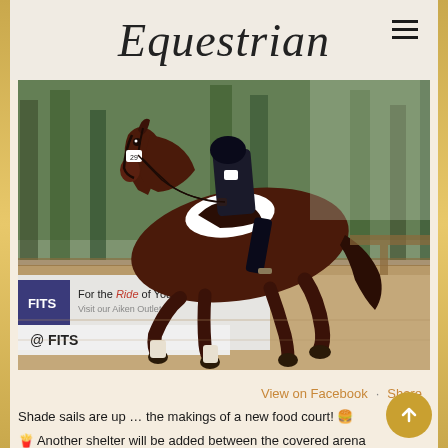Equestrian
[Figure (photo): A rider in black dressage attire on a dark bay horse trotting in an arena. A FITS advertisement banner is visible in the background reading 'For the Ride of Your Life - Visit our Aiken Outlet' and '@FITS' at the bottom.]
View on Facebook · Share
Shade sails are up … the makings of a new food court! 🍔
🍟 Another shelter will be added between the covered arena